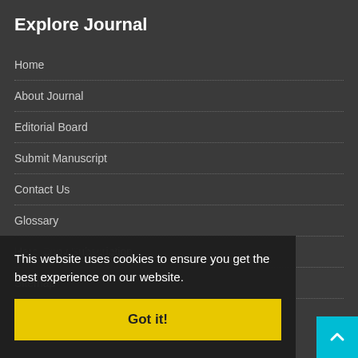Explore Journal
Home
About Journal
Editorial Board
Submit Manuscript
Contact Us
Glossary
Hard Copy Subscription
Sitemap
Latest News
This website uses cookies to ensure you get the best experience on our website.
Got it!